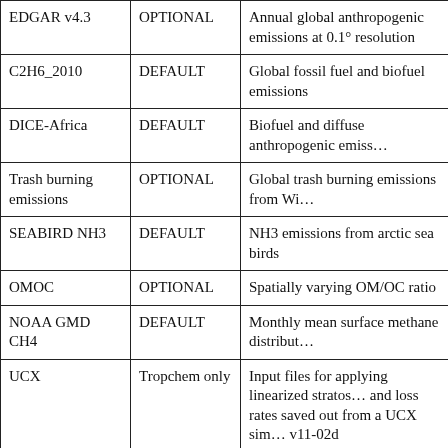| Name | Type | Description |
| --- | --- | --- |
| EDGAR v4.3 | OPTIONAL | Annual global anthropogenic emissions at 0.1° resolution |
| C2H6_2010 | DEFAULT | Global fossil fuel and biofuel emissions |
| DICE-Africa | DEFAULT | Biofuel and diffuse anthropogenic emiss… |
| Trash burning emissions | OPTIONAL | Global trash burning emissions from Wi… |
| SEABIRD NH3 | DEFAULT | NH3 emissions from arctic sea birds |
| OMOC | OPTIONAL | Spatially varying OM/OC ratio |
| NOAA GMD CH4 | DEFAULT | Monthly mean surface methane distribut… |
| UCX | Tropchem only | Input files for applying linearized stratos… and loss rates saved out from a UCX sim… v11-02d |
| IODINE | DEFAULT | Monthly emission fluxes of organic iodi… CH2ICl, CH2IBr) from Carlos Ordonez… |